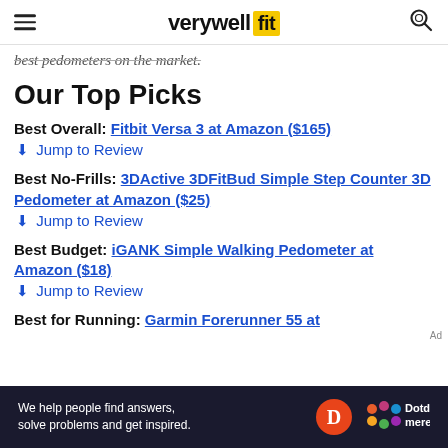verywell fit
best pedometers on the market.
Our Top Picks
Best Overall: Fitbit Versa 3 at Amazon ($165)
↓ Jump to Review
Best No-Frills: 3DActive 3DFitBud Simple Step Counter 3D Pedometer at Amazon ($25)
↓ Jump to Review
Best Budget: iGANK Simple Walking Pedometer at Amazon ($18)
↓ Jump to Review
Best for Running: Garmin Forerunner 55 at
We help people find answers, solve problems and get inspired. Dotdash meredith